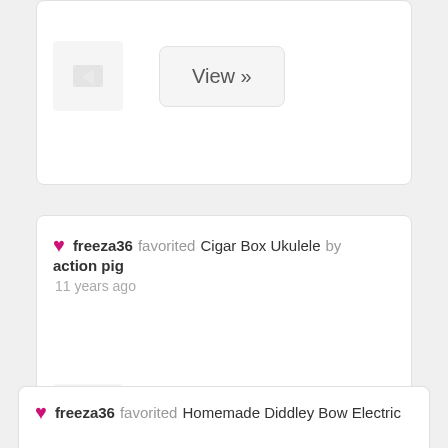[Figure (other): Partial card with image thumbnail and View button]
freeza36 favorited Cigar Box Ukulele by action pig
11 years ago
[Figure (other): Card with image thumbnail and View button for Cigar Box Ukulele]
freeza36 favorited Homemade Diddley Bow Electric